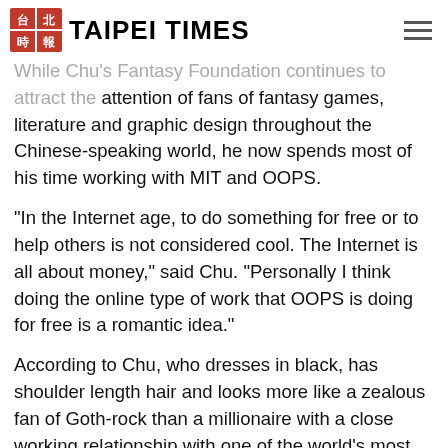TAIPEI TIMES
While Chu's Fantasy Foundation continues to attract the attention of fans of fantasy games, literature and graphic design throughout the Chinese-speaking world, he now spends most of his time working with MIT and OOPS.
"In the Internet age, to do something for free or to help others is not considered cool. The Internet is all about money," said Chu. "Personally I think doing the online type of work that OOPS is doing for free is a romantic idea."
According to Chu, who dresses in black, has shoulder length hair and looks more like a zealous fan of Goth-rock than a millionaire with a close working relationship with one of the world's most prestigious institutes of higher learning, he spends an average of 16 hours a day coordinating and overseeing his OOPS project. He's now so busy, in fact, that he no longer bothers to commute to